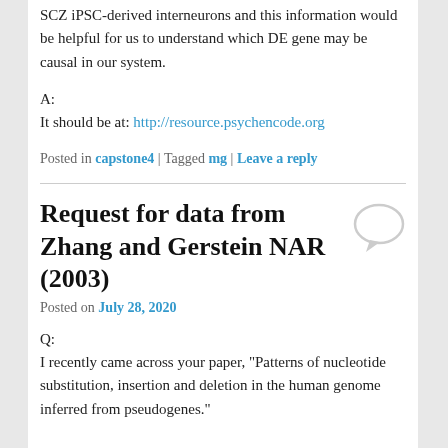SCZ iPSC-derived interneurons and this information would be helpful for us to understand which DE gene may be causal in our system.
A:
It should be at: http://resource.psychencode.org
Posted in capstone4 | Tagged mg | Leave a reply
Request for data from Zhang and Gerstein NAR (2003)
Posted on July 28, 2020
Q:
I recently came across your paper, "Patterns of nucleotide substitution, insertion and deletion in the human genome inferred from pseudogenes."